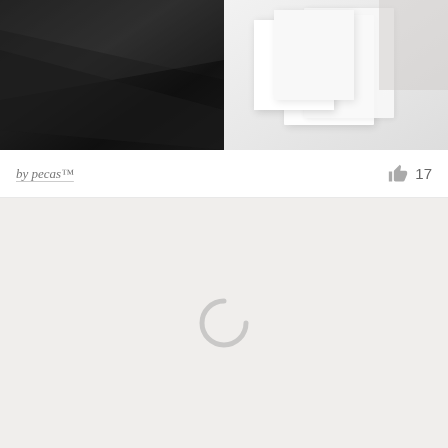[Figure (photo): Two photos side by side: left shows dark black/charcoal textured paper or material with angled layers; right shows white boxes or book covers stacked on a light background with a partial hand visible]
by pecas™
17
[Figure (other): Loading spinner (partial circle arc) on a light grey/off-white background, indicating content is still loading]